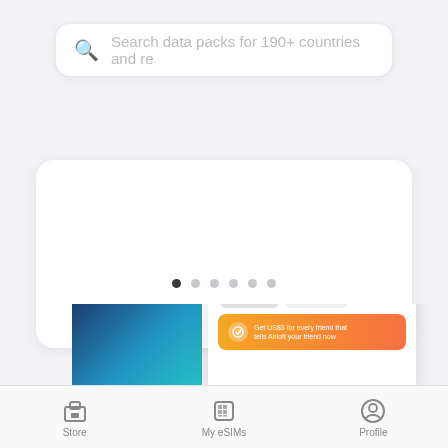Search data packs for 190+ countries and re
[Figure (screenshot): Carousel card placeholder - white rounded card]
[Figure (infographic): Carousel pagination dots - 6 dots, first one active/dark]
[Figure (screenshot): Mobile app screenshot showing My eSIMs screen with balance US$0.00, tabs for Current eSIMs and Archived eSIMs, and an orange/red promotional banner]
[Figure (screenshot): Partial phone showing dark blue/teal screen on left side]
[Figure (infographic): Red circular chat/support button with message icon]
Store   My eSIMs   Profile